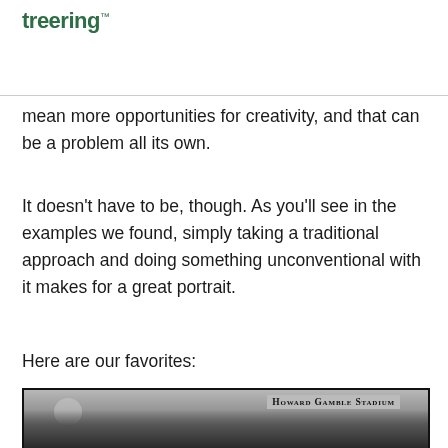treering
mean more opportunities for creativity, and that can be a problem all its own.
It doesn’t have to be, though. As you’ll see in the examples we found, simply taking a traditional approach and doing something unconventional with it makes for a great portrait.
Here are our favorites:
[Figure (photo): Black and white photograph of cheerleaders posing in front of Howard Gamble Stadium]